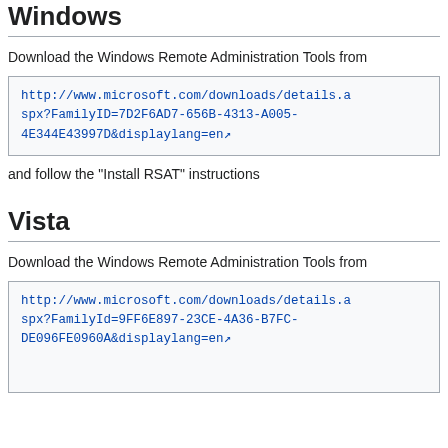Windows
Download the Windows Remote Administration Tools from
http://www.microsoft.com/downloads/details.aspx?FamilyID=7D2F6AD7-656B-4313-A005-4E344E43997D&displaylang=en
and follow the "Install RSAT" instructions
Vista
Download the Windows Remote Administration Tools from
http://www.microsoft.com/downloads/details.aspx?FamilyId=9FF6E897-23CE-4A36-B7FC-DE096FE0960A&displaylang=en